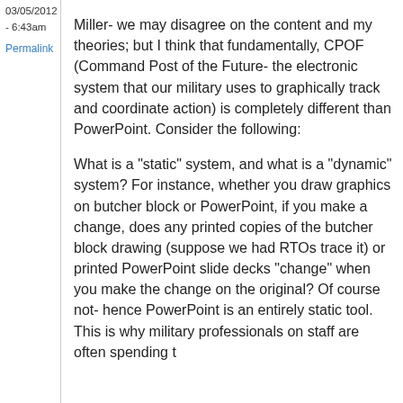03/05/2012 - 6:43am
Permalink
Miller- we may disagree on the content and my theories; but I think that fundamentally, CPOF (Command Post of the Future- the electronic system that our military uses to graphically track and coordinate action) is completely different than PowerPoint. Consider the following:
What is a "static" system, and what is a "dynamic" system? For instance, whether you draw graphics on butcher block or PowerPoint, if you make a change, does any printed copies of the butcher block drawing (suppose we had RTOs trace it) or printed PowerPoint slide decks "change" when you make the change on the original? Of course not- hence PowerPoint is an entirely static tool. This is why military professionals on staff are often spending t